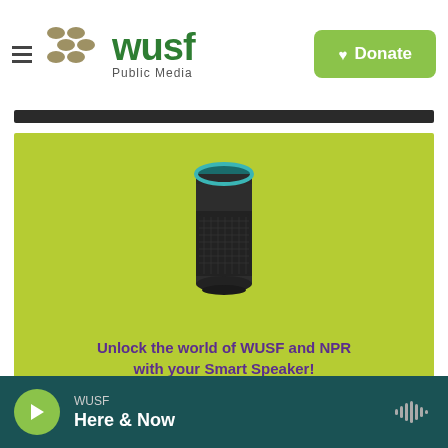[Figure (logo): WUSF Public Media logo with olive-colored dot pattern and green WUSF text]
[Figure (illustration): Green donate button with heart icon]
[Figure (photo): Amazon Echo smart speaker on lime green background with text: Unlock the world of WUSF and NPR with your Smart Speaker!]
WUSF Here & Now